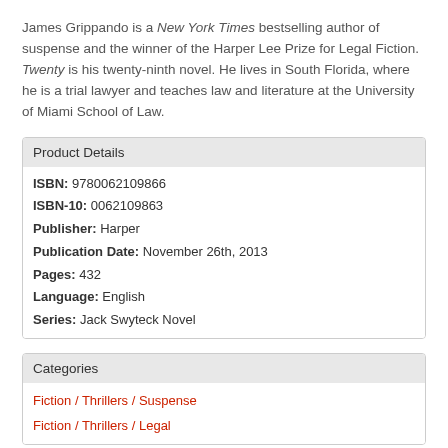James Grippando is a New York Times bestselling author of suspense and the winner of the Harper Lee Prize for Legal Fiction. Twenty is his twenty-ninth novel. He lives in South Florida, where he is a trial lawyer and teaches law and literature at the University of Miami School of Law.
Product Details
| ISBN: | 9780062109866 |
| ISBN-10: | 0062109863 |
| Publisher: | Harper |
| Publication Date: | November 26th, 2013 |
| Pages: | 432 |
| Language: | English |
| Series: | Jack Swyteck Novel |
Categories
Fiction / Thrillers / Suspense
Fiction / Thrillers / Legal